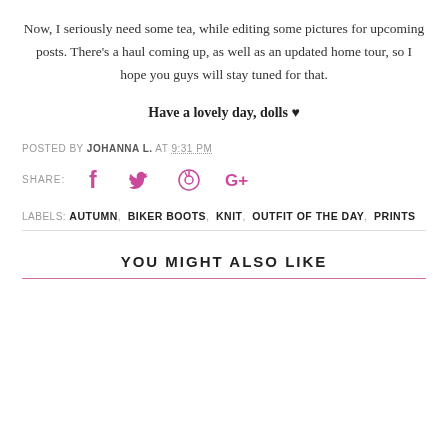Now, I seriously need some tea, while editing some pictures for upcoming posts. There's a haul coming up, as well as an updated home tour, so I hope you guys will stay tuned for that.
Have a lovely day, dolls ♥
POSTED BY JOHANNA L. AT 9:31 PM
SHARE: [facebook] [twitter] [pinterest] [google+]
LABELS: AUTUMN, BIKER BOOTS, KNIT, OUTFIT OF THE DAY, PRINTS
YOU MIGHT ALSO LIKE